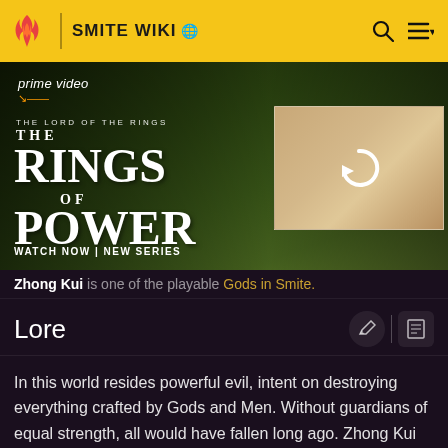SMITE WIKI
[Figure (photo): Amazon Prime Video advertisement for 'The Lord of the Rings: The Rings of Power' with two characters and a thumbnail overlay with a refresh icon]
Zhong Kui is one of the playable Gods in Smite.
Lore
In this world resides powerful evil, intent on destroying everything crafted by Gods and Men. Without guardians of equal strength, all would have fallen long ago. Zhong Kui was once a man with ambitions no greater than scholastic excellence, but in death became the perfect shield against evil's onslaught.